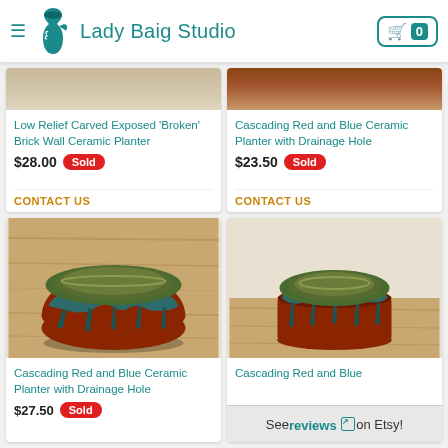Lady Baig Studio
Low Relief Carved Exposed 'Broken' Brick Wall Ceramic Planter
$28.00 Sold
CONTACT US
Cascading Red and Blue Ceramic Planter with Drainage Hole
$23.50 Sold
CONTACT US
[Figure (photo): Ceramic bowl with cascading red and blue glaze, sitting on a wooden surface]
Cascading Red and Blue Ceramic Planter with Drainage Hole
$27.50 Sold
[Figure (photo): Ceramic bowl with green interior and cascading red-blue glaze exterior, on wooden surface]
Cascading Red and Blue
See reviews on Etsy!